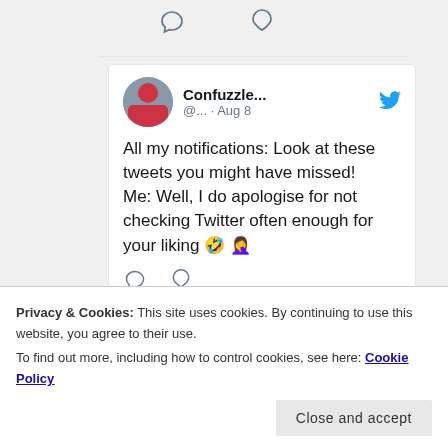[Figure (screenshot): Top of Twitter feed showing comment and heart icons from a previous tweet]
Confuzzle... @... · Aug 8
All my notifications: Look at these tweets you might have missed!
Me: Well, I do apologise for not checking Twitter often enough for your liking 🤣 🤦
[Figure (screenshot): Comment and heart icons at the bottom of the tweet]
Privacy & Cookies: This site uses cookies. By continuing to use this website, you agree to their use.
To find out more, including how to control cookies, see here: Cookie Policy
Close and accept